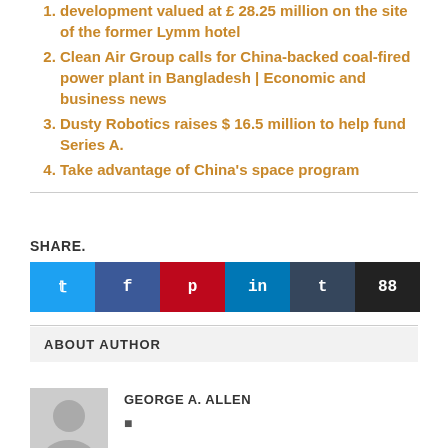development valued at £ 28.25 million on the site of the former Lymm hotel
Clean Air Group calls for China-backed coal-fired power plant in Bangladesh | Economic and business news
Dusty Robotics raises $ 16.5 million to help fund Series A.
Take advantage of China's space program
SHARE.
ABOUT AUTHOR
GEORGE A. ALLEN